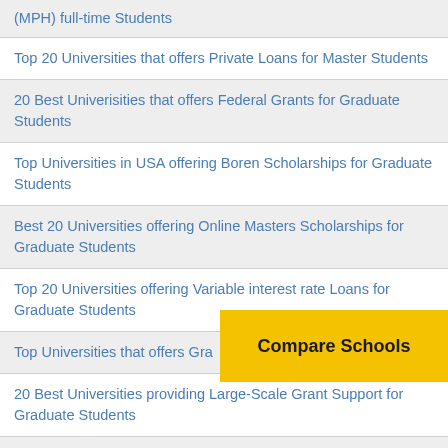(MPH) full-time Students
Top 20 Universities that offers Private Loans for Master Students
20 Best Univerisities that offers Federal Grants for Graduate Students
Top Universities in USA offering Boren Scholarships for Graduate Students
Best 20 Universities offering Online Masters Scholarships for Graduate Students
Top 20 Universities offering Variable interest rate Loans for Graduate Students
Top Universities that offers Gra... Students
20 Best Universities providing Large-Scale Grant Support for Graduate Students
Best 15 Universities that offers Scholarships for